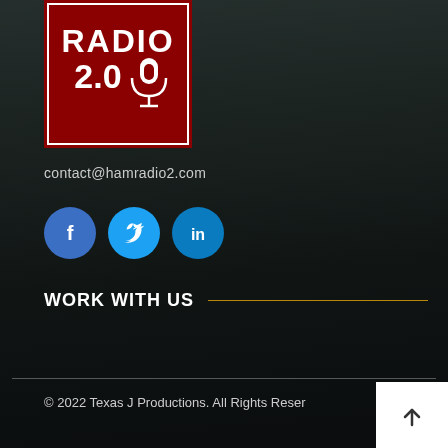[Figure (logo): Ham Radio 2.0 logo - red square with white text 'RADIO 2.0' and microphone icon]
contact@hamradio2.com
[Figure (infographic): Social media icons: Facebook (blue circle with f), Twitter (cyan circle with bird), LinkedIn (blue circle with in)]
WORK WITH US
© 2022 Texas J Productions. All Rights Reserved.